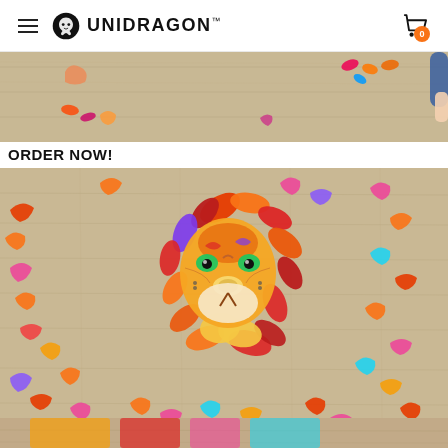UNIDRAGON™
[Figure (photo): Top cropped photo showing a wooden surface with colorful animal puzzle pieces and a hand/arm in blue sleeve visible]
ORDER NOW!
[Figure (photo): Photo of a colorful wooden lion puzzle being assembled on a wooden floor, with many uniquely shaped animal and leaf pieces scattered around the partially assembled lion face centerpiece]
[Figure (photo): Bottom strip showing partial view of another puzzle image]